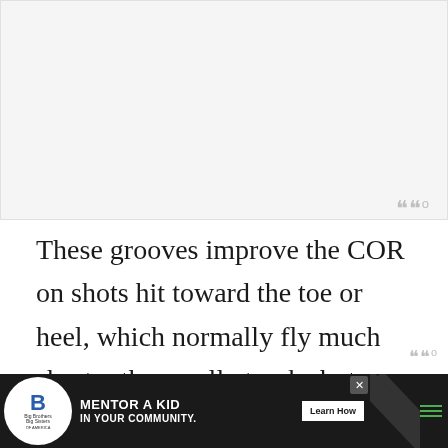[Figure (photo): Large image placeholder area at top of page, light gray background]
These grooves improve the COR on shots hit toward the toe or heel, which normally fly much shorter than well-struck shots. The Speed Pocket is tucked under the face, on the sole and behind the leading edge. This channel allows for more flex lower on the face,
[Figure (infographic): Advertisement banner at bottom: Big Brothers Big Sisters - MENTOR A KID IN YOUR COMMUNITY. Learn How button, with diagonal stripe pattern.]